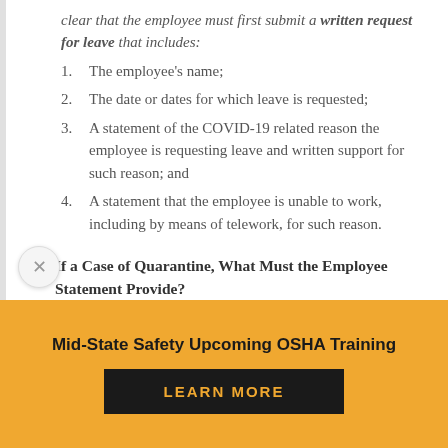clear that the employee must first submit a written request for leave that includes:
1.  The employee's name;
2.  The date or dates for which leave is requested;
3.  A statement of the COVID-19 related reason the employee is requesting leave and written support for such reason; and
4.  A statement that the employee is unable to work, including by means of telework, for such reason.
If a Case of Quarantine, What Must the Employee Statement Provide?
Mid-State Safety Upcoming OSHA Training
LEARN MORE